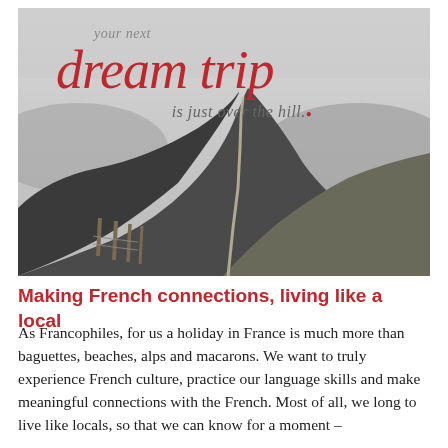[Figure (photo): Black and white landscape photograph of rolling hills with a fence line and dirt path leading over a hill into misty background, with overlay text reading 'your next dream trip is just over the hill.']
Making French connections, living like a local
As Francophiles, for us a holiday in France is much more than baguettes, beaches, alps and macarons. We want to truly experience French culture, practice our language skills and make meaningful connections with the French. Most of all, we long to live like locals, so that we can know for a moment –